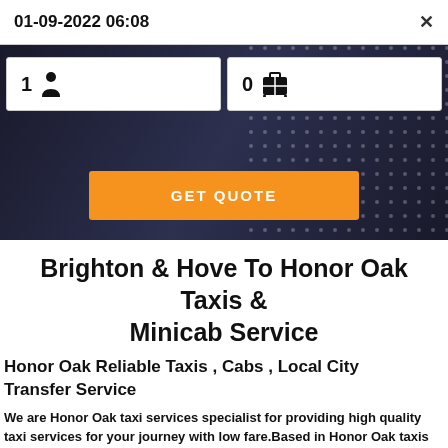01-09-2022 06:08
[Figure (screenshot): Taxi booking UI with passenger count (1) and luggage count (0) input fields, and a GET QUOTE orange button, over a dark hero background]
Brighton & Hove To Honor Oak Taxis & Minicab Service
Honor Oak Reliable Taxis , Cabs , Local City Transfer Service
We are Honor Oak taxi services specialist for providing high quality taxi services for your journey with low fare.Based in Honor Oak taxis ready top pick you in Honor Oak and nearest places ASAP pick-up for 24 7. You can book taxi online, by phone or you can call to us: 01273 358545 M...